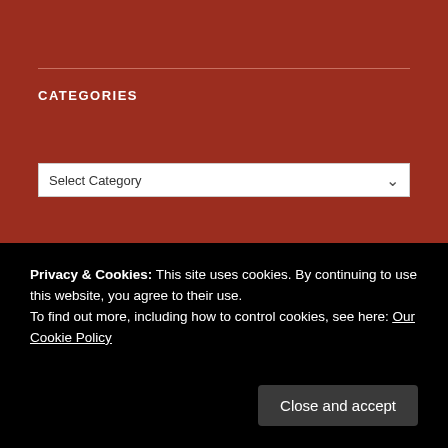CATEGORIES
[Figure (screenshot): Select Category dropdown box]
| M | T | W | T | F | S | S |
| --- | --- | --- | --- | --- | --- | --- |
| 1 | 2 | 3 | 4 | 5 | 6 | 7 |
| 8 | 9 | 10 | 11 | 12 | 13 | 14 |
| 15 | 16 | 17 | 18 | 19 | 20 | 21 |
| 22 | 23 | 24 | 25 | 26 | 27 | 28 |
| 29 | 30 | 31 |  |  |  |  |
« May
Privacy & Cookies: This site uses cookies. By continuing to use this website, you agree to their use.
To find out more, including how to control cookies, see here: Our Cookie Policy
Close and accept